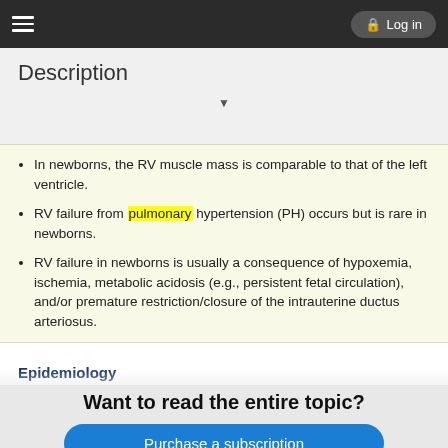Log in
Description
In newborns, the RV muscle mass is comparable to that of the left ventricle.
RV failure from pulmonary hypertension (PH) occurs but is rare in newborns.
RV failure in newborns is usually a consequence of hypoxemia, ischemia, metabolic acidosis (e.g., persistent fetal circulation), and/or premature restriction/closure of the intrauterine ductus arteriosus.
Epidemiology
Cor pulmonale may be found at any age but is typically a result of a
Want to read the entire topic?
Purchase a subscription
I'm already a subscriber
Browse sample topics